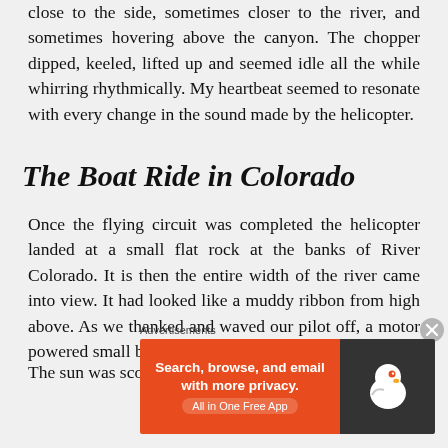close to the side, sometimes closer to the river, and sometimes hovering above the canyon. The chopper dipped, keeled, lifted up and seemed idle all the while whirring rhythmically. My heartbeat seemed to resonate with every change in the sound made by the helicopter.
The Boat Ride in Colorado
Once the flying circuit was completed the helicopter landed at a small flat rock at the banks of River Colorado. It is then the entire width of the river came into view. It had looked like a muddy ribbon from high above. As we thanked and waved our pilot off, a motor powered small boat floated in.
The sun was scorching and I wrapped myself up with
[Figure (other): DuckDuckGo advertisement banner: orange left panel with text 'Search, browse, and email with more privacy. All in One Free App', dark right panel with DuckDuckGo logo duck icon.]